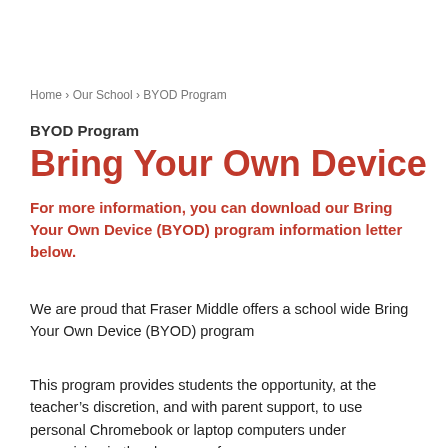Home › Our School › BYOD Program
BYOD Program
Bring Your Own Device
For more information, you can download our Bring Your Own Device (BYOD) program information letter below.
We are proud that Fraser Middle offers a school wide Bring Your Own Device (BYOD) program
This program provides students the opportunity, at the teacher's discretion, and with parent support, to use personal Chromebook or laptop computers under supervision in the classroom for